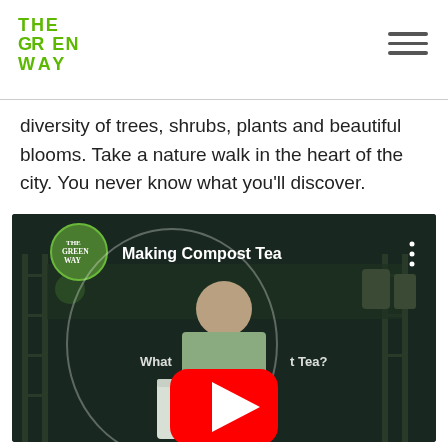The Green Way logo and navigation
diversity of trees, shrubs, plants and beautiful blooms. Take a nature walk in the heart of the city. You never know what you'll discover.
[Figure (screenshot): YouTube video embed titled 'Making Compost Tea' from The Green Way channel. Shows a person standing in what appears to be a workshop/garden center with shelves of equipment. A large YouTube play button is centered over the video. Text overlay reads 'What [is Compos]t Tea?']